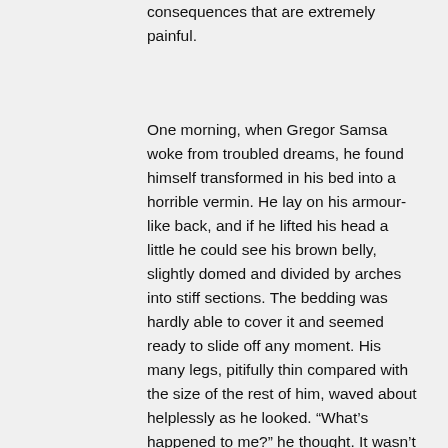consequences that are extremely painful.
One morning, when Gregor Samsa woke from troubled dreams, he found himself transformed in his bed into a horrible vermin. He lay on his armour-like back, and if he lifted his head a little he could see his brown belly, slightly domed and divided by arches into stiff sections. The bedding was hardly able to cover it and seemed ready to slide off any moment. His many legs, pitifully thin compared with the size of the rest of him, waved about helplessly as he looked. “What’s happened to me?” he thought. It wasn’t a dream. His room, a proper human room although a little too small, lay peacefully between its